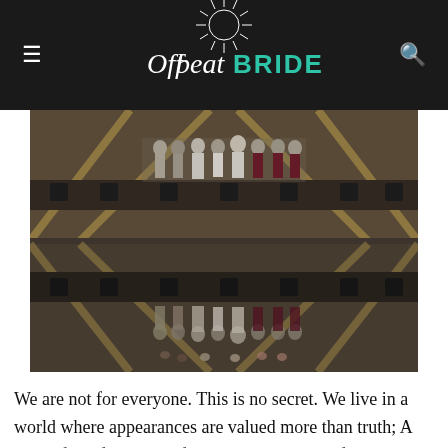Offbeat BRIDE
[Figure (photo): Wedding party standing on an industrial bridge/walkway, photographed from below with a reflection effect — the group appears both right-side up and upside down, creating a mirror image. People are wearing formal attire including white and dark red/burgundy dresses.]
We are not for everyone. This is no secret. We live in a world where appearances are valued more than truth; A world full of Snapchat filters that make your face look slender, and endless articles telling you how to hold your arms to make yourself look